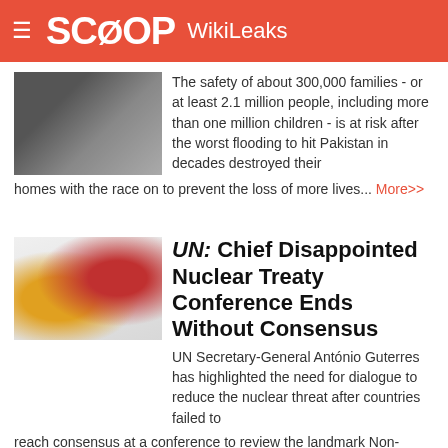SCOOP WikiLeaks
The safety of about 300,000 families - or at least 2.1 million people, including more than one million children - is at risk after the worst flooding to hit Pakistan in decades destroyed their homes with the race on to prevent the loss of more lives... More>>
UN: Chief Disappointed Nuclear Treaty Conference Ends Without Consensus
UN Secretary-General António Guterres has highlighted the need for dialogue to reduce the nuclear threat after countries failed to reach consensus at a conference to review the landmark Non-Proliferation Treaty (NPT), his Spokesperson said on Saturday... More>>